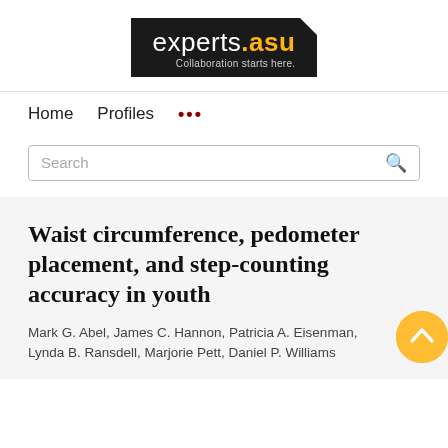[Figure (logo): experts.asu logo — dark background with white 'experts' text, gold '.asu' text, and tagline 'Collaboration starts here.']
Home   Profiles   ...
Search
Waist circumference, pedometer placement, and step-counting accuracy in youth
Mark G. Abel, James C. Hannon, Patricia A. Eisenman, Lynda B. Ransdell, Marjorie Pett, Daniel P. Williams